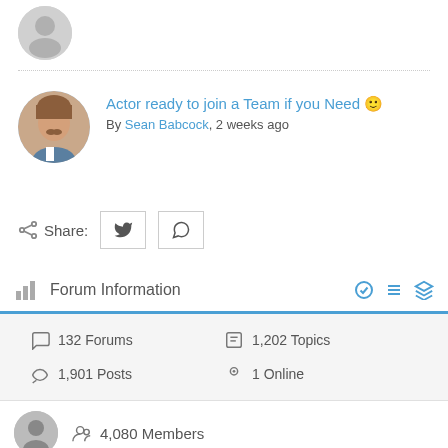[Figure (photo): Partial gray placeholder avatar circle at top of page, cropped]
Actor ready to join a Team if you Need 🙂
By Sean Babcock, 2 weeks ago
[Figure (photo): Round profile photo of smiling young man with mustache]
Share:
[Figure (other): Share buttons: Twitter bird icon and WhatsApp icon in bordered boxes]
Forum Information
132 Forums   1,202 Topics   1,901 Posts   1 Online
4,080 Members